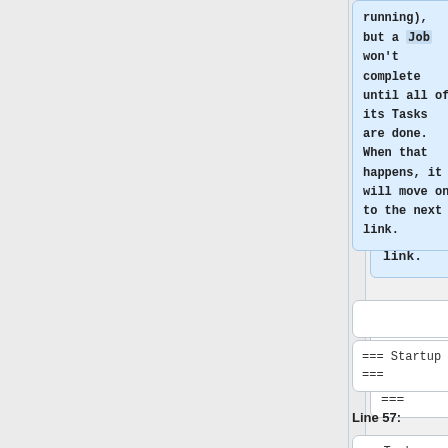running), but a Job won't complete until all of its Tasks are done. When that happens, it will move on to the next link.
=== Startup ===
=== Startup ===
Line 57:
Line 64:
===Task Types===
===Task Types===